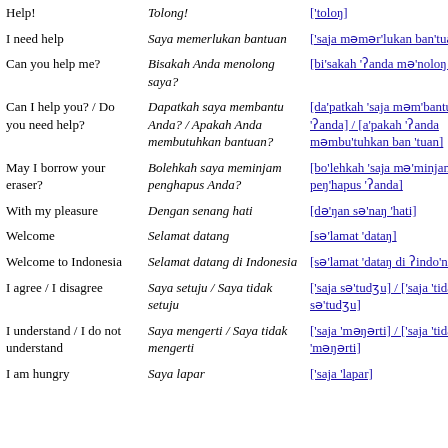| English | Indonesian | Pronunciation |
| --- | --- | --- |
| Help! | Tolong! | ['toloŋ] |
| I need help | Saya memerlukan bantuan | ['saja məmər'lukan ban'tuan] |
| Can you help me? | Bisakah Anda menolong saya? | [bi'sakah 'ʔanda mə'noloŋ 'saja] |
| Can I help you? / Do you need help? | Dapatkah saya membantu Anda? / Apakah Anda membutuhkan bantuan? | [da'patkah 'saja məm'bantu 'ʔanda] / [a'pakah 'ʔanda məmbu'tuhkan ban'tuan] |
| May I borrow your eraser? | Bolehkah saya meminjam penghapus Anda? | [bo'lehkah 'saja mə'minjam peŋ'hapus 'ʔanda] |
| With my pleasure | Dengan senang hati | [də'ŋan sə'naŋ 'hati] |
| Welcome | Selamat datang | [sə'lamat 'dataŋ] |
| Welcome to Indonesia | Selamat datang di Indonesia | [sə'lamat 'dataŋ di ʔindo'nesja] |
| I agree / I disagree | Saya setuju / Saya tidak setuju | ['saja sə'tudʒu] / ['saja 'tidaʔ sə'tudʒu] |
| I understand / I do not understand | Saya mengerti / Saya tidak mengerti | ['saja 'məŋərti] / ['saja 'tidaʔ 'məŋərti] |
| I am hungry | Saya lapar | ['saja 'lapar] |